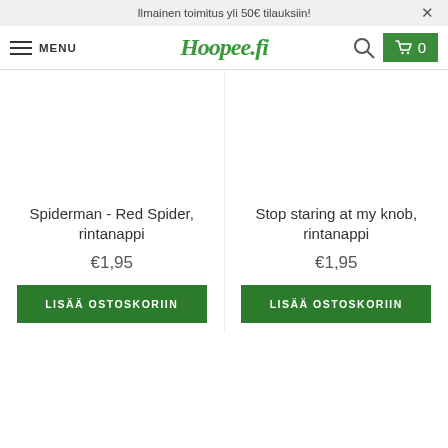Ilmainen toimitus yli 50€ tilauksiin!
MENU  Hoopee.fi  🔍  🛒 0
Spiderman - Red Spider, rintanappi
€1,95
Stop staring at my knob, rintanappi
€1,95
LISÄÄ OSTOSKORIIN
LISÄÄ OSTOSKORIIN